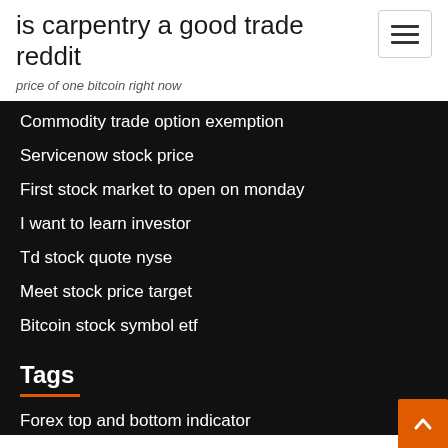is carpentry a good trade reddit
price of one bitcoin right now
Commodity trade option exemption
Servicenow stock price
First stock market to open on monday
I want to learn investor
Td stock quote nyse
Meet stock price target
Bitcoin stock symbol etf
Tags
Forex top and bottom indicator